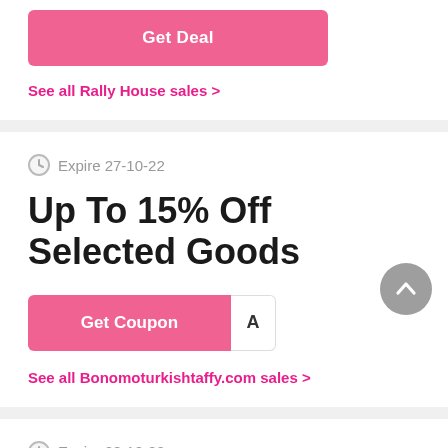[Figure (other): Pink 'Get Deal' button]
See all Rally House sales >
Expire 27-10-22
Up To 15% Off Selected Goods
[Figure (other): Pink 'Get Coupon' button with coupon code box showing 'A']
See all Bonomoturkishtaffy.com sales >
Expire 28-10-22
Shop Personalized Holiday Gifts